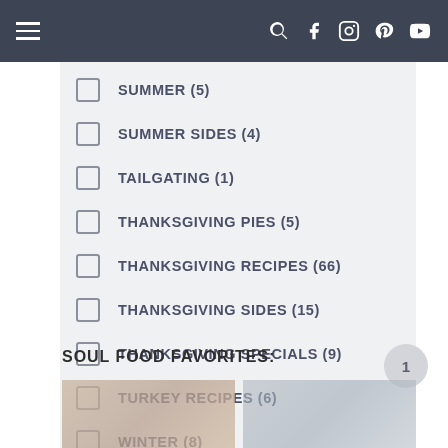Navigation bar with hamburger menu and social icons
SUMMER (5)
SUMMER SIDES (4)
TAILGATING (1)
THANKSGIVING PIES (5)
THANKSGIVING RECIPES (66)
THANKSGIVING SIDES (15)
THANKSGIVING SPECIALS (9)
TURKEY RECIPES (6)
WINTER (8)
SOUL FOOD FAVORITES:
[Figure (photo): Two food photos partially visible at the bottom of the page]